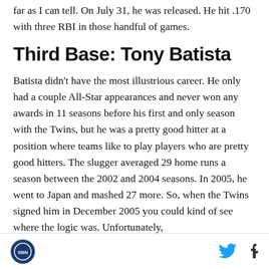far as I can tell. On July 31, he was released. He hit .170 with three RBI in those handful of games.
Third Base: Tony Batista
Batista didn't have the most illustrious career. He only had a couple All-Star appearances and never won any awards in 11 seasons before his first and only season with the Twins, but he was a pretty good hitter at a position where teams like to play players who are pretty good hitters. The slugger averaged 29 home runs a season between the 2002 and 2004 seasons. In 2005, he went to Japan and mashed 27 more. So, when the Twins signed him in December 2005 you could kind of see where the logic was. Unfortunately,
SBNation logo | Twitter | Facebook